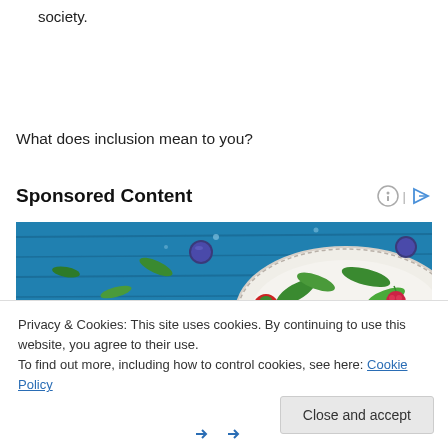society.
What does inclusion mean to you?
Sponsored Content
[Figure (photo): Overhead photo of fresh berries — strawberries, blueberries, raspberries — with green leaves on a blue wooden surface with a white plate]
Privacy & Cookies: This site uses cookies. By continuing to use this website, you agree to their use.
To find out more, including how to control cookies, see here: Cookie Policy
Close and accept